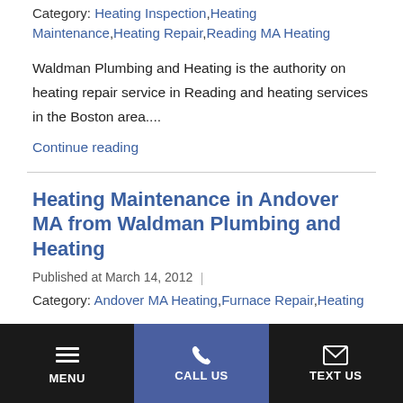Category: Heating Inspection,Heating Maintenance,Heating Repair,Reading MA Heating
Waldman Plumbing and Heating is the authority on heating repair service in Reading and heating services in the Boston area....
Continue reading
Heating Maintenance in Andover MA from Waldman Plumbing and Heating
Published at March 14, 2012
Category: Andover MA Heating,Furnace Repair,Heating
MENU | CALL US | TEXT US